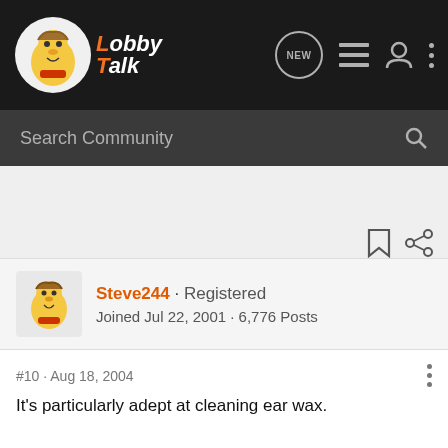LobbyTalk
Search Community
Steve244 · Registered
Joined Jul 22, 2001 · 6,776 Posts
#10 · Aug 18, 2004
It's particularly adept at cleaning ear wax.